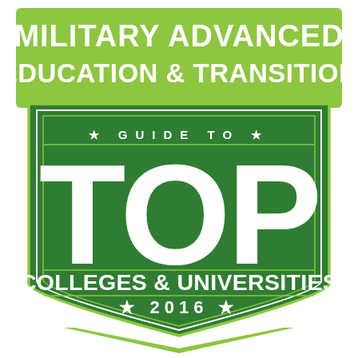[Figure (logo): Military Advanced Education & Transition — Guide to Top Colleges & Universities 2016 badge/shield logo in green and white]